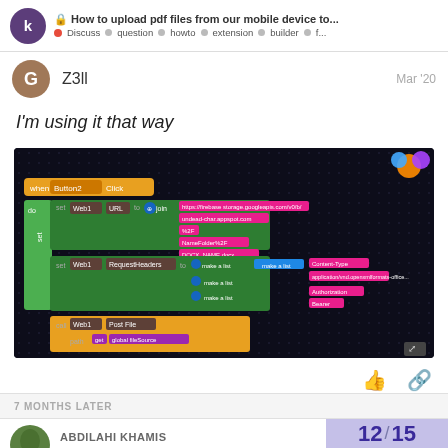How to upload pdf files from our mobile device to... | Discuss · question · howto · extension · builder · f...
Z3ll  Mar '20
I'm using it that way
[Figure (screenshot): MIT App Inventor block code screenshot showing blocks for setting Web1 URL using join with Firebase Storage URL, setting Web1 RequestHeaders with make a list blocks for Content-Type and Authorization Bearer, and calling Web1 PostFile with path from global fileSource]
7 MONTHS LATER
ABDILAHI KHAMIS
12 / 15